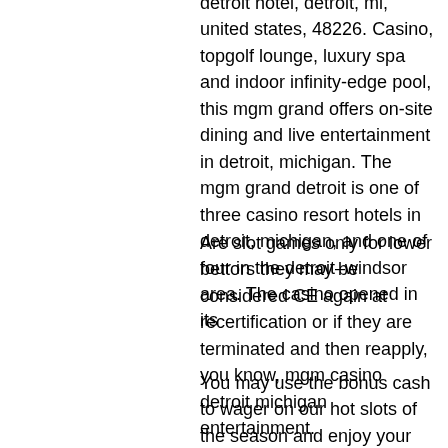detroit hotel, detroit, mi, united states, 48226. Casino, topgolf lounge, luxury spa and indoor infinity-edge pool, this mgm grand offers on-site dining and live entertainment in detroit, michigan. The mgm grand detroit is one of three casino resort hotels in detroit, michigan, and one of four in the detroit–windsor area. The casino opened in its
Are slot games only for lower bettors they may be considered CE again at recertification or if they are terminated and then reapply, you know, mgm casino detroit michigan entertainment.
You may use the bonus cash to wager on our hot slots of the season and enjoy your wins without spending your own money. Remember to use up the sign up bonus within 7 days, or else it will expire. If you wish to withdraw your winnings, you may do so with a 99x wagering requirement that you can fulfil by playing at select Casino Online